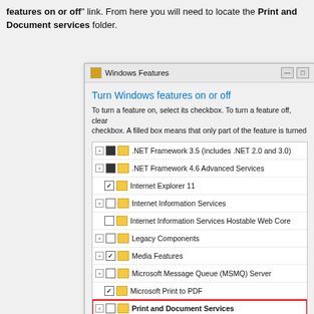The above image shows the dialog that will open after you have clicked the "Turn Windows features on or off" link. From here you will need to locate the Print and Document services folder.
[Figure (screenshot): Windows Features dialog showing a list of Windows features that can be turned on or off. The 'Print and Document Services' item is highlighted with a red rectangle. Features shown include .NET Framework 3.5, .NET Framework 4.6 Advanced Services, Internet Explorer 11, Internet Information Services, Internet Information Services Hostable Web Core, Legacy Components, Media Features, Microsoft Message Queue (MSMQ) Server, Microsoft Print to PDF, Print and Document Services (highlighted), Remote Differential Compression API Support, and RIP Listener. An OK and Cancel button appear at the bottom.]